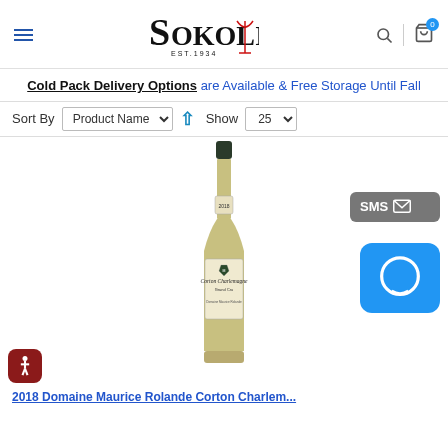Sokolin EST. 1934 — navigation header with hamburger menu, search, and cart icons
Cold Pack Delivery Options are Available & Free Storage Until Fall
Sort By Product Name ↑ Show 25
[Figure (photo): Wine bottle — Corton Charlemagne Grand Cru, Domaine Maurice Martin, with green foil top and cream label]
2018 Domaine Maurice Rolande Corton Charlemagne...